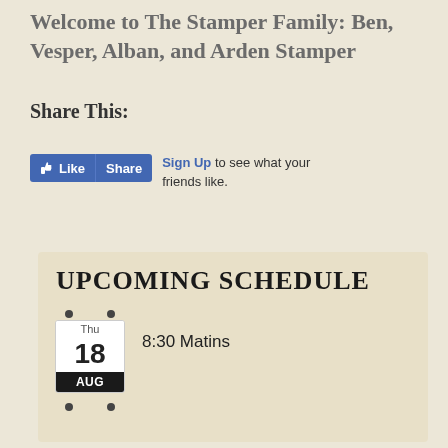Welcome to The Stamper Family: Ben, Vesper, Alban, and Arden Stamper
Share This:
[Figure (screenshot): Facebook Like and Share buttons with 'Sign Up to see what your friends like.' text]
UPCOMING SCHEDULE
Thu 18 AUG — 8:30 Matins